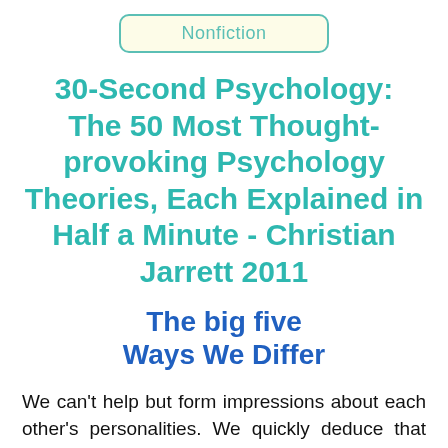Nonfiction
30-Second Psychology: The 50 Most Thought-provoking Psychology Theories, Each Explained in Half a Minute - Christian Jarrett 2011
The big five Ways We Differ
We can't help but form impressions about each other's personalities. We quickly deduce that others are friendly, quiet,